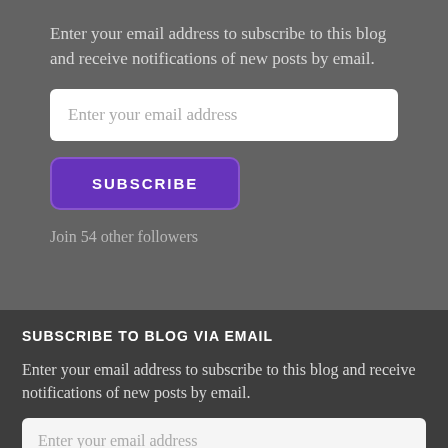Enter your email address to subscribe to this blog and receive notifications of new posts by email.
Enter your email address
SUBSCRIBE
Join 54 other followers
SUBSCRIBE TO BLOG VIA EMAIL
Enter your email address to subscribe to this blog and receive notifications of new posts by email.
Enter your email address